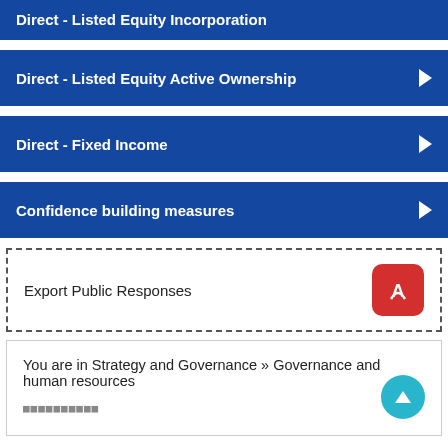Direct - Listed Equity Incorporation
Direct - Listed Equity Active Ownership
Direct - Fixed Income
Confidence building measures
Export Public Responses
You are in Strategy and Governance » Governance and human resources